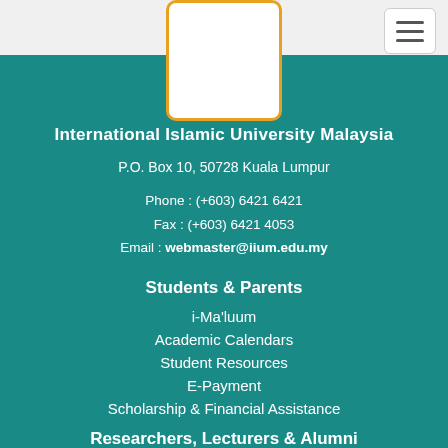[Figure (logo): University logo placeholder box with orange border]
International Islamic University Malaysia
P.O. Box 10, 50728 Kuala Lumpur
Phone : (+603) 6421 6421
Fax : (+603) 6421 4053
Email : webmaster@iium.edu.my
Students & Parents
i-Ma'luum
Academic Calendars
Student Resources
E-Payment
Scholarship & Financial Assistance
Researchers, Lecturers & Alumni
Research Centre
Library
Thesis, Journal & Papers